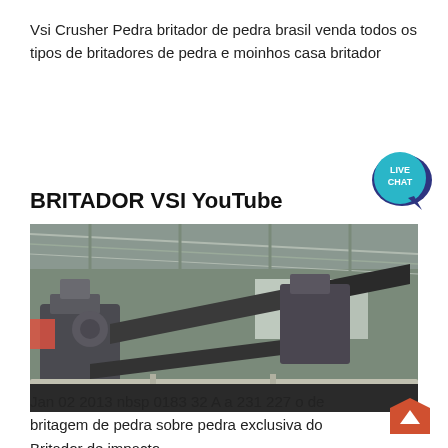Vsi Crusher Pedra britador de pedra brasil venda todos os tipos de britadores de pedra e moinhos casa britador
[Figure (logo): Live Chat bubble icon with teal background and white text LIVE CHAT]
BRITADOR VSI YouTube
[Figure (photo): Industrial stone crushing facility interior with conveyor belts and heavy machinery inside a warehouse]
Jan 02 2013 nbsp 0183 32 A a 231 227 o de britagem de pedra sobre pedra exclusiva do Britador de impacto